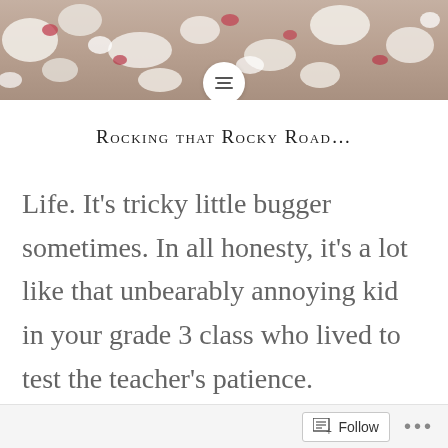[Figure (photo): Top banner photo of rocky road confection — white and dark crumbly pieces with red accents, cropped close]
Rocking that Rocky Road...
Life. It's tricky little bugger sometimes. In all honesty, it's a lot like that unbearably annoying kid in your grade 3 class who lived to test the teacher's patience. Throwing things, giving attitude and never really doing what you want it to. Charming… The road
Follow ...